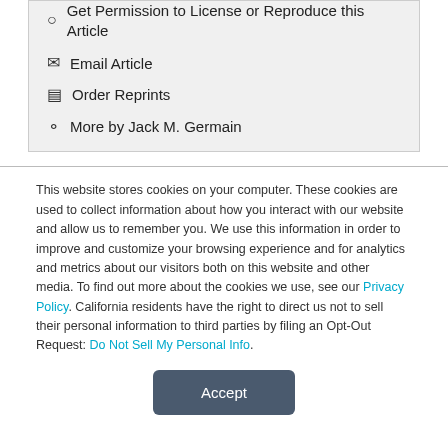Get Permission to License or Reproduce this Article
Email Article
Order Reprints
More by Jack M. Germain
This website stores cookies on your computer. These cookies are used to collect information about how you interact with our website and allow us to remember you. We use this information in order to improve and customize your browsing experience and for analytics and metrics about our visitors both on this website and other media. To find out more about the cookies we use, see our Privacy Policy. California residents have the right to direct us not to sell their personal information to third parties by filing an Opt-Out Request: Do Not Sell My Personal Info.
Accept